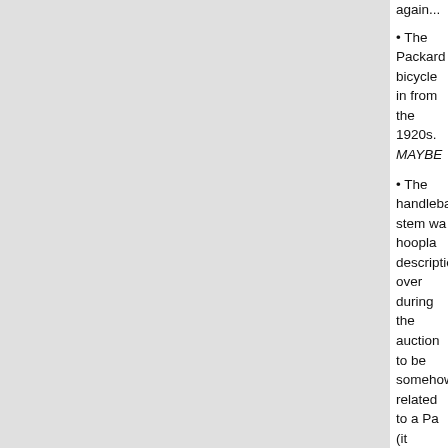again...
• The Packard bicycle in from the 1920s. MAYBE
• The handlebar stem wa hoopla descriptions over during the auction to be somehow related to a Pa (it wasn't). Nor was the t was it original to this bicy handlebar stem in quest no chance from the 1920 company in Detroit, Mich Avenue. I had been ther and bought several of th my collection until 2002 ..."largely disappeared" a Caribbean convertible. Y word for it about the age was an aftermarket part west coast. But I had se back and research, you these stems in 1950s bi impossible to be from th be original equipment or Bicycles from the 1920s aluminum gooseneck ha aftermarket accessory o finding this aftermarket D west coast would not be
• The seat on this "1920...